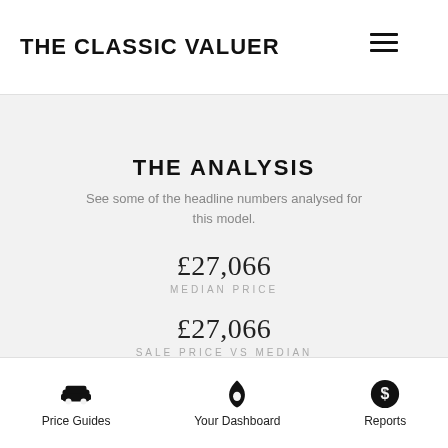THE CLASSIC VALUER
THE ANALYSIS
See some of the headline numbers analysed for this model.
£27,066
MEDIAN PRICE
£27,066
SALE PRICE VS MEDIAN
LOADING
CONSIGNMENTS
Price Guides   Your Dashboard   Reports